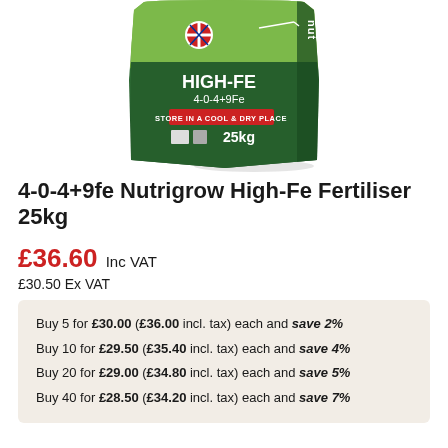[Figure (photo): Product photo of Nutrigrow High-Fe Fertiliser bag, dark green bag showing HIGH-FE 4-0-4+9Fe text, STORE IN A COOL & DRY PLACE label, 25kg weight, British flag badge and QR code]
4-0-4+9fe Nutrigrow High-Fe Fertiliser 25kg
£36.60 Inc VAT
£30.50 Ex VAT
Buy 5 for £30.00 (£36.00 incl. tax) each and save 2%
Buy 10 for £29.50 (£35.40 incl. tax) each and save 4%
Buy 20 for £29.00 (£34.80 incl. tax) each and save 5%
Buy 40 for £28.50 (£34.20 incl. tax) each and save 7%